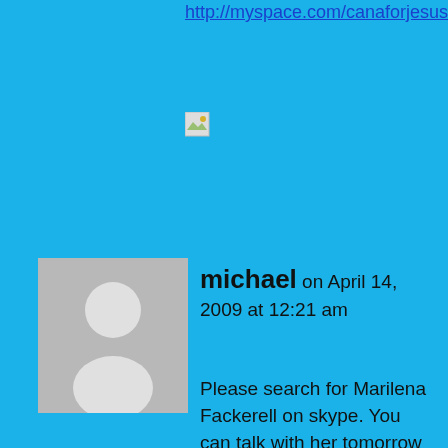http://myspace.com/canaforjesus
[Figure (photo): Broken image placeholder icon]
michael on April 14, 2009 at 12:21 am
Please search for Marilena Fackerell on skype. You can talk with her tomorrow Australian time. She is sleeping right now.
Don't harm yourself, your life is precious even if a man has let you down. Anyone who kills themselves murders themselves and will be